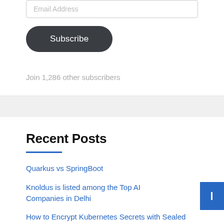Email Address
Subscribe
Join 1,286 other subscribers
Recent Posts
Quarkus vs SpringBoot
Knoldus is listed among the Top AI Companies in Delhi
How to Encrypt Kubernetes Secrets with Sealed Secrets?